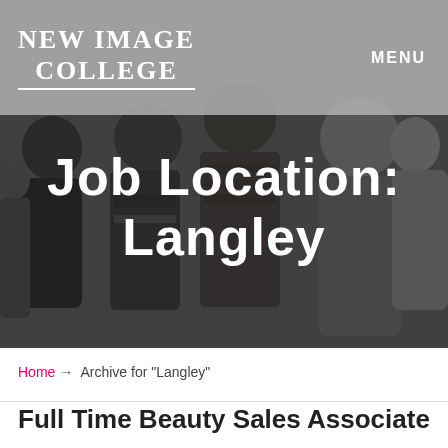NEW IMAGE COLLEGE | MENU
[Figure (photo): Group of young people standing together, dark overlay background, with large white text 'Job Location: Langley' overlaid]
Home → Archive for "Langley"
Full Time Beauty Sales Associate –